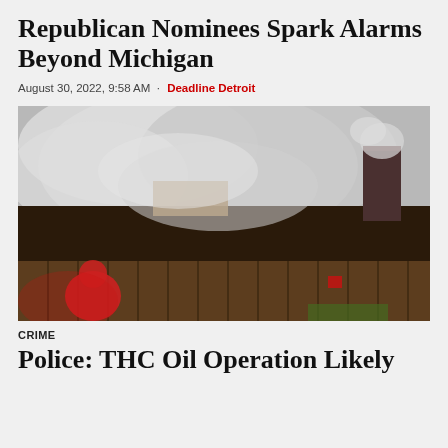Republican Nominees Spark Alarms Beyond Michigan
August 30, 2022, 9:58 AM · Deadline Detroit
[Figure (photo): A building with heavy white smoke billowing from the roof. A person in a red jacket is visible in the foreground lower left. Wooden fence panels and a brick chimney are visible.]
CRIME
Police: THC Oil Operation Likely